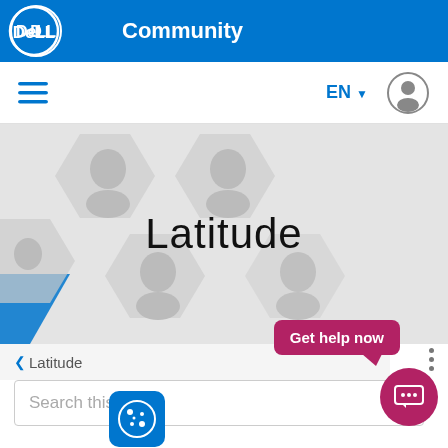Dell Community
[Figure (screenshot): Navigation bar with hamburger menu, EN language selector, and user profile icon]
[Figure (illustration): Hero banner with hexagonal people portrait tiles and Latitude text overlay]
Latitude
< Latitude
Get help now
Search this board
[Figure (illustration): Cookie consent icon — blue rounded square with cookie symbol]